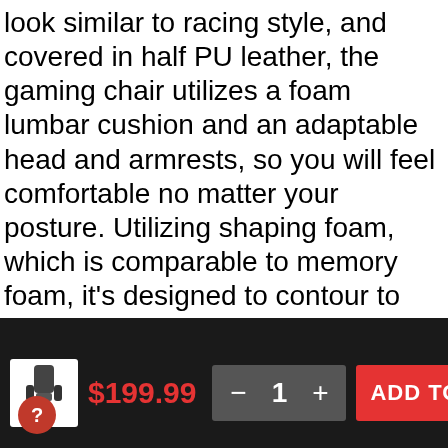look similar to racing style, and covered in half PU leather, the gaming chair utilizes a foam lumbar cushion and an adaptable head and armrests, so you will feel comfortable no matter your posture. Utilizing shaping foam, which is comparable to memory foam, it's designed to contour to your body. The high quality seat of these black and white gaming chairs are made of a foam padding, and covered in a nylon fabric, so you can sit for hours in comfort. This swivel chair is also extra durable, able to provide support up to 250 lbs without issue. It also has a tall backrest, so gamers are comfortable no matter how tall or small you are. Once you pick this racing style gaming chair for yourself, you'll find that no other high back gaming chair can meet the same levels of standard and personal comfort, while retaining a stylish racing appearance.

This Deco Gear Ergonomic White Office and Computer
$199.99  —  1  +  ADD TO CART